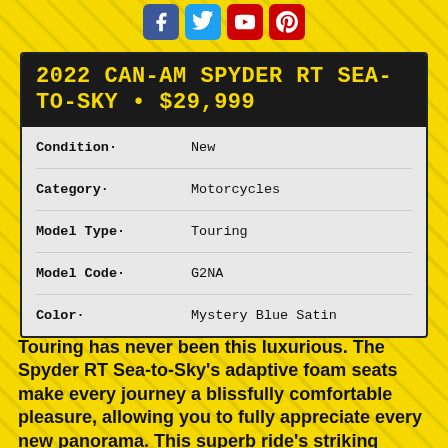[Figure (other): Social media icons: Facebook, Twitter, YouTube, Pinterest]
2022 CAN-AM SPYDER RT SEA-TO-SKY • $29,999
| Field | Value |
| --- | --- |
| Condition· | New |
| Category· | Motorcycles |
| Model Type· | Touring |
| Model Code· | G2NA |
| Color· | Mystery Blue Satin |
Touring has never been this luxurious. The Spyder RT Sea-to-Sky's adaptive foam seats make every journey a blissfully comfortable pleasure, allowing you to fully appreciate every new panorama. This superb ride's striking looks reflect your inimitable style.